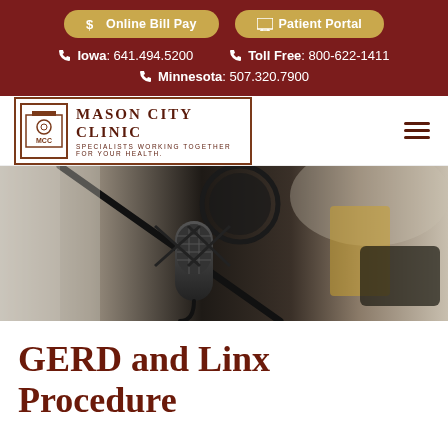$ Online Bill Pay | Patient Portal | Iowa: 641.494.5200 | Toll Free: 800-622-1411 | Minnesota: 507.320.7900
[Figure (logo): Mason City Clinic logo — icon with MCC initials, text 'MASON CITY CLINIC', tagline 'SPECIALISTS WORKING TOGETHER FOR YOUR HEALTH.']
[Figure (photo): Close-up photograph of a professional studio microphone on a boom arm in a recording studio setting, with blurred background showing yellow and other equipment.]
GERD and Linx Procedure